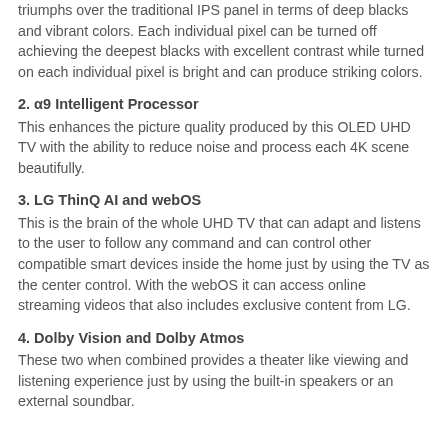triumphs over the traditional IPS panel in terms of deep blacks and vibrant colors. Each individual pixel can be turned off achieving the deepest blacks with excellent contrast while turned on each individual pixel is bright and can produce striking colors.
2. α9 Intelligent Processor
This enhances the picture quality produced by this OLED UHD TV with the ability to reduce noise and process each 4K scene beautifully.
3. LG ThinQ AI and webOS
This is the brain of the whole UHD TV that can adapt and listens to the user to follow any command and can control other compatible smart devices inside the home just by using the TV as the center control. With the webOS it can access online streaming videos that also includes exclusive content from LG.
4. Dolby Vision and Dolby Atmos
These two when combined provides a theater like viewing and listening experience just by using the built-in speakers or an external soundbar.